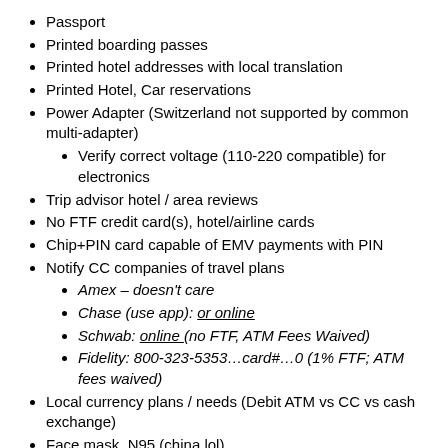Passport
Printed boarding passes
Printed hotel addresses with local translation
Printed Hotel, Car reservations
Power Adapter (Switzerland not supported by common multi-adapter)
Verify correct voltage (110-220 compatible) for electronics
Trip advisor hotel / area reviews
No FTF credit card(s), hotel/airline cards
Chip+PIN card capable of EMV payments with PIN
Notify CC companies of travel plans
Amex – doesn't care
Chase (use app): or online
Schwab: online (no FTF, ATM Fees Waived)
Fidelity: 800-323-5353…card#…0 (1% FTF; ATM fees waived)
Local currency plans / needs (Debit ATM vs CC vs cash exchange)
Face mask, N95 (china lol)